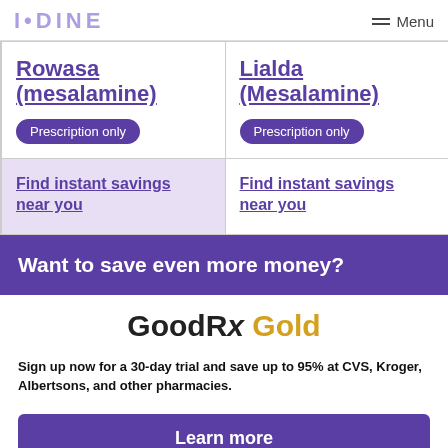IODINE  Menu
| Rowasa (mesalamine) | Lialda (Mesalamine) |
| --- | --- |
| Prescription only | Prescription only |
Find instant savings near you
Find instant savings near you
Want to save even more money?
[Figure (logo): GoodRx Gold logo]
Sign up now for a 30-day trial and save up to 95% at CVS, Kroger, Albertsons, and other pharmacies.
Learn more